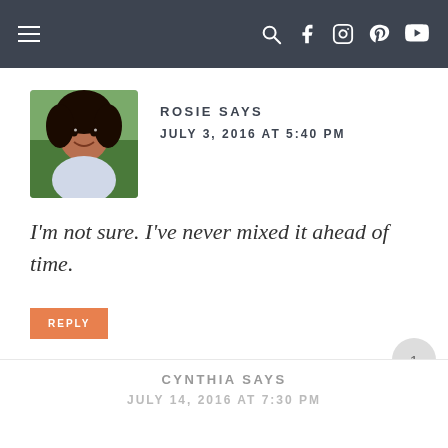Navigation bar with menu and social icons
ROSIE SAYS
JULY 3, 2016 AT 5:40 PM
I'm not sure. I've never mixed it ahead of time.
REPLY
CYNTHIA SAYS
JULY 14, 2016 AT 7:30 PM